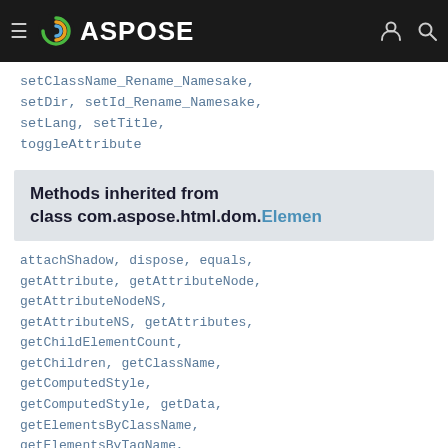ASPOSE
setClassName_Rename_Namesake, setDir, setId_Rename_Namesake, setLang, setTitle, toggleAttribute
Methods inherited from class com.aspose.html.dom.Element
attachShadow, dispose, equals, getAttribute, getAttributeNode, getAttributeNodeNS, getAttributeNS, getAttributes, getChildElementCount, getChildren, getClassName, getComputedStyle, getComputedStyle, getData, getElementsByClassName, getElementsByTagName, getElementsByTagNameNS, getFirstElementChild, getId,